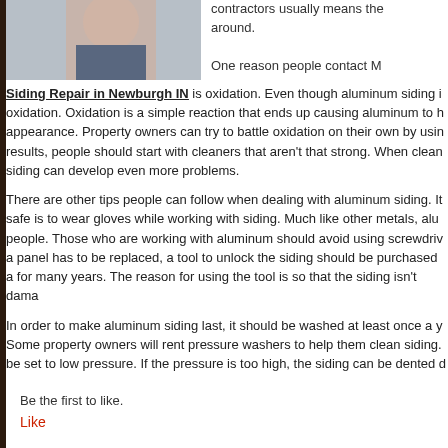[Figure (photo): Partial photo of a person, cropped showing upper body/face area, appears to be a web article image]
contractors usually means the around.
One reason people contact M Siding Repair in Newburgh IN is oxidation. Even though aluminum siding i oxidation. Oxidation is a simple reaction that ends up causing aluminum to h appearance. Property owners can try to battle oxidation on their own by usin results, people should start with cleaners that aren't that strong. When clean siding can develop even more problems.
There are other tips people can follow when dealing with aluminum siding. It safe is to wear gloves while working with siding. Much like other metals, alu people. Those who are working with aluminum should avoid using screwdriv a panel has to be replaced, a tool to unlock the siding should be purchased a for many years. The reason for using the tool is so that the siding isn't dama
In order to make aluminum siding last, it should be washed at least once a y Some property owners will rent pressure washers to help them clean siding. be set to low pressure. If the pressure is too high, the siding can be dented d
Be the first to like.
Like